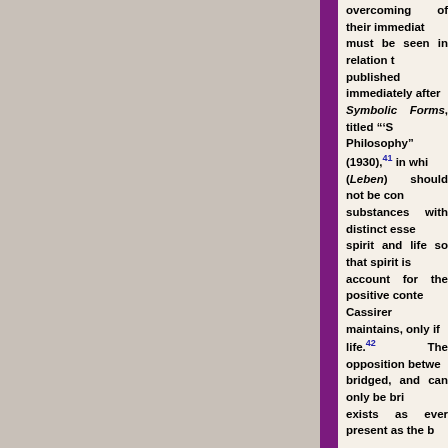overcoming of their immediate must be seen in relation to published immediately after t Symbolic Forms, titled "'Sp Philosophy" (1930),41 in whic (Leben) should not be conc substances with distinct essen spirit and life so that spirit is s account for the positive conten Cassirer maintains, only if s life.42 The opposition between bridged, and can only be brid exists as ever present as the ba Cassirer maintains that historical development of hum cultural life and the rise and Such conflicts are never abs element that is present in any are never sheerly novel oc something that exists as that a Cassirer, culture in its histori moment potentially tragic fo simply lost. He maintains, tragedy of culture become con culture, for each conflict does of culture itself, but becomes of its essential process.44